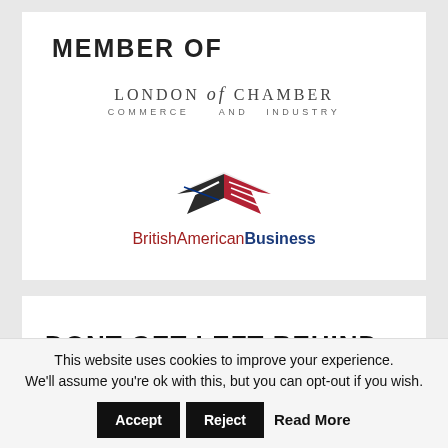MEMBER OF
[Figure (logo): London Chamber of Commerce and Industry logo — text-based logotype reading LONDON of CHAMBER in large serif letters with COMMERCE AND INDUSTRY below]
[Figure (logo): BritishAmericanBusiness logo — stylized eagle/wings with UK and US flags combined, text BritishAmericanBusiness below]
DONT GET LEFT BEHIND...
This website uses cookies to improve your experience. We'll assume you're ok with this, but you can opt-out if you wish.
Accept   Reject   Read More